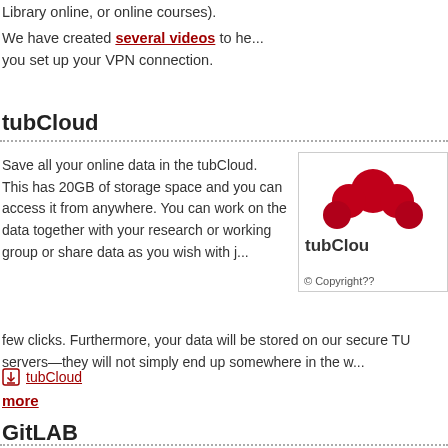Library online, or online courses).
We have created several videos to he... you set up your VPN connection.
tubCloud
Save all your online data in the tubCloud. This has 20GB of storage space and you can access it from anywhere. You can work on the data together with your research or working group or share data as you wish with just a few clicks. Furthermore, your data will be stored on our secure TU servers—they will not simply end up somewhere in the w...
[Figure (logo): tubCloud logo — red cloud circles above the text 'tubCloud', with '© Copyright??' caption below]
tubCloud (download link)
more
GitLAB
Save all your data...